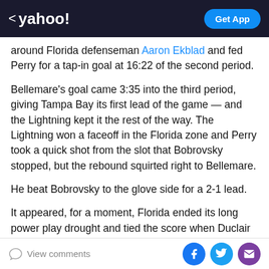< yahoo! | Get App
around Florida defenseman Aaron Ekblad and fed Perry for a tap-in goal at 16:22 of the second period.
Bellemare's goal came 3:35 into the third period, giving Tampa Bay its first lead of the game — and the Lightning kept it the rest of the way. The Lightning won a faceoff in the Florida zone and Perry took a quick shot from the slot that Bobrovsky stopped, but the rebound squirted right to Bellemare.
He beat Bobrovsky to the glove side for a 2-1 lead.
It appeared, for a moment, Florida ended its long power play drought and tied the score when Duclair scored on a loose puck. Tampa Bay challenged, saying the puck went
View comments | Facebook | Twitter | Email